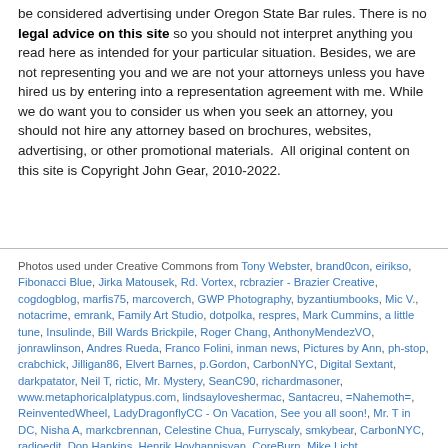be considered advertising under Oregon State Bar rules. There is no legal advice on this site so you should not interpret anything you read here as intended for your particular situation. Besides, we are not representing you and we are not your attorneys unless you have hired us by entering into a representation agreement with me. While we do want you to consider us when you seek an attorney, you should not hire any attorney based on brochures, websites, advertising, or other promotional materials.  All original content on this site is Copyright John Gear, 2010-2022.
Photos used under Creative Commons from Tony Webster, brand0con, eirikso, Fibonacci Blue, Jirka Matousek, Rd. Vortex, rcbrazier - Brazier Creative, cogdogblog, marfis75, marcoverch, GWP Photography, byzantiumbooks, Mic V., notacrime, emrank, Family Art Studio, dotpolka, respres, Mark Cummins, a little tune, Insulinde, Bill Wards Brickpile, Roger Chang, AnthonyMendezVO, jonrawlinson, Andres Rueda, Franco Folini, inman news, Pictures by Ann, ph-stop, crabchick, Jilligan86, Elvert Barnes, p.Gordon, CarbonNYC, Digital Sextant, darkpatator, Neil T, rictic, Mr. Mystery, SeanC90, richardmasoner, www.metaphoricalplatypus.com, lindsayloveshermac, Santacreu, =Nahemoth=, ReinventedWheel, LadyDragonflyCC - On Vacation, See you all soon!, Mr. T in DC, Nisha A, markcbrennan, Celestine Chua, Furryscaly, smkybear, CarbonNYC, radioedit, Don Hankins, Henrik Hovhannisyan, CoreBurn, Mike Licht, NotionsCapital.com, David Masters, SeeMidTN.com (aka Brent), SoulRider.222, amboo who?, robwest, Rob Ellis', floeschie, Key Foster, TechCocktail, That Other Paper, marcoverch, oskay, Muffet, rodaniel, Alan Cleaver, Mike Licht, NotionsCapital.com, Horia Varlan, xJasonRogersx, billaday, BasicGov, One Way